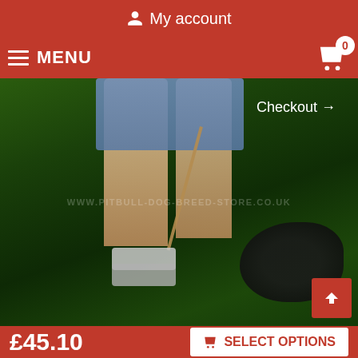My account
MENU
[Figure (photo): A person in denim shorts and sandals walking a dark-colored pitbull dog on a leash in a park. The dog is wearing a harness. Watermark: WWW.PITBULL-DOG-BREED-STORE.CO.UK. Checkout → link visible in upper right of image.]
£45.10
SELECT OPTIONS